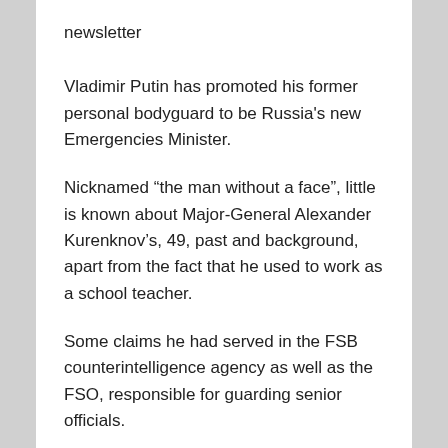newsletter
Vladimir Putin has promoted his former personal bodyguard to be Russia's new Emergencies Minister.
Nicknamed “the man without a face”, little is known about Major-General Alexander Kurenknov’s, 49, past and background, apart from the fact that he used to work as a school teacher.
Some claims he had served in the FSB counterintelligence agency as well as the FSO, responsible for guarding senior officials.